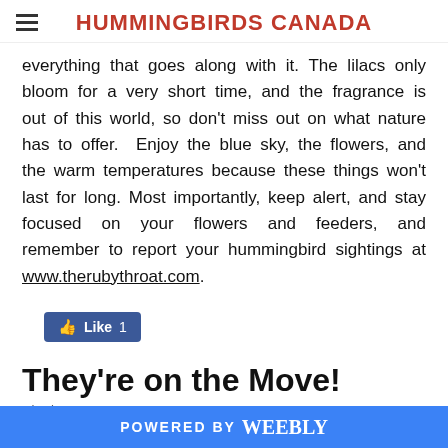HUMMINGBIRDS CANADA
everything that goes along with it. The lilacs only bloom for a very short time, and the fragrance is out of this world, so don't miss out on what nature has to offer. Enjoy the blue sky, the flowers, and the warm temperatures because these things won't last for long. Most importantly, keep alert, and stay focused on your flowers and feeders, and remember to report your hummingbird sightings at www.therubythroat.com.
[Figure (other): Facebook Like button showing 1 like]
They're on the Move!
3/12/2013    0 Comments
POWERED BY weebly